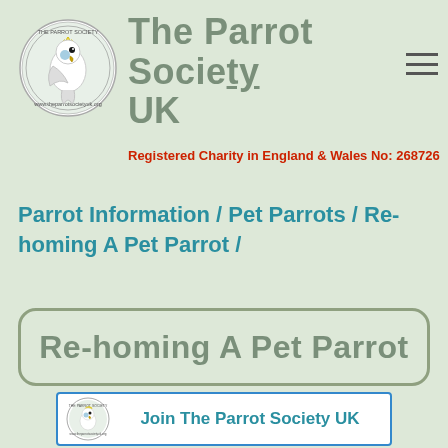[Figure (logo): The Parrot Society UK circular logo with a cockatoo parrot image in the centre and text around the border]
The Parrot Society UK
Registered Charity in England & Wales No: 268726
Parrot Information / Pet Parrots / Re-homing A Pet Parrot /
Re-homing A Pet Parrot
[Figure (logo): The Parrot Society UK circular logo small version]
Join The Parrot Society UK